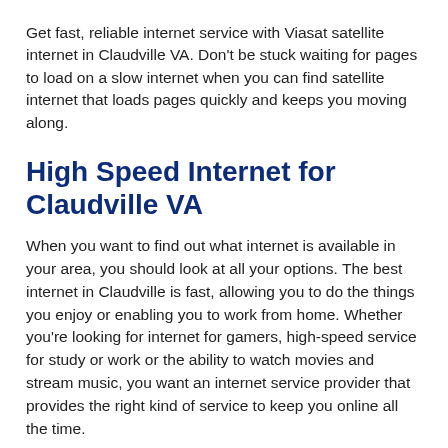Get fast, reliable internet service with Viasat satellite internet in Claudville VA. Don't be stuck waiting for pages to load on a slow internet when you can find satellite internet that loads pages quickly and keeps you moving along.
High Speed Internet for Claudville VA
When you want to find out what internet is available in your area, you should look at all your options. The best internet in Claudville is fast, allowing you to do the things you enjoy or enabling you to work from home. Whether you're looking for internet for gamers, high-speed service for study or work or the ability to watch movies and stream music, you want an internet service provider that provides the right kind of service to keep you online all the time.